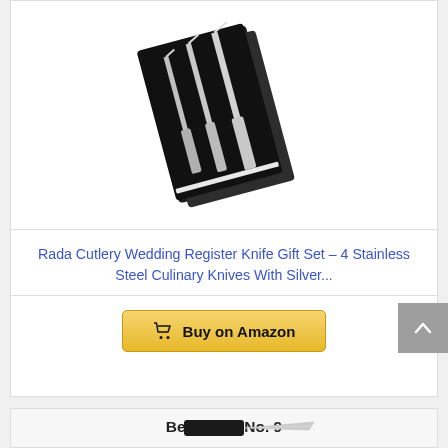[Figure (photo): Rada Cutlery knife gift set in black box packaging, showing 4 stainless steel culinary knives with silver handles arranged diagonally]
Rada Cutlery Wedding Register Knife Gift Set – 4 Stainless Steel Culinary Knives With Silver...
[Figure (other): Buy on Amazon button with shopping cart icon]
[Figure (other): Back to top arrow button (gray)]
Bestseller No.  9
[Figure (photo): Partial view of a knife with black handle, shown at bottom of page]